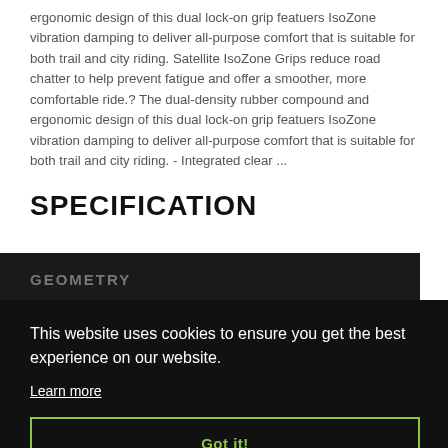ergonomic design of this dual lock-on grip featuers IsoZone vibration damping to deliver all-purpose comfort that is suitable for both trail and city riding. Satellite IsoZone Grips reduce road chatter to help prevent fatigue and offer a smoother, more comfortable ride.? The dual-density rubber compound and ergonomic design of this dual lock-on grip featuers IsoZone vibration damping to deliver all-purpose comfort that is suitable for both trail and city riding. - Integrated clear ...
SPECIFICATION
GEOMETRY
This website uses cookies to ensure you get the best experience on our website.
Learn more
Got it!